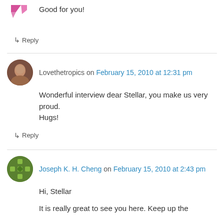Good for you!
↳ Reply
Lovethetropics on February 15, 2010 at 12:31 pm
Wonderful interview dear Stellar, you make us very proud.
Hugs!
↳ Reply
Joseph K. H. Cheng on February 15, 2010 at 2:43 pm
Hi, Stellar
It is really great to see you here. Keep up the